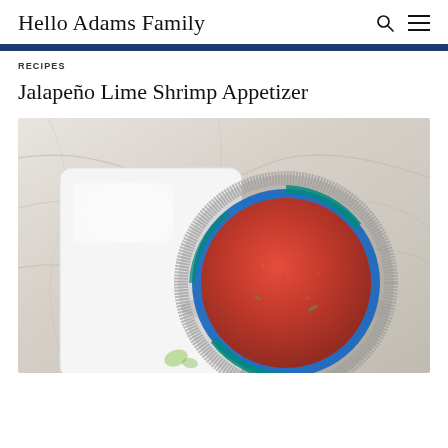Hello Adams Family
RECIPES
Jalapeño Lime Shrimp Appetizer
[Figure (photo): Overhead view of a pink/red shrimp appetizer dip in a decorative blue and teal rimmed bowl with silver salt/sugar rim, placed on a white rectangular tray on a marble surface.]